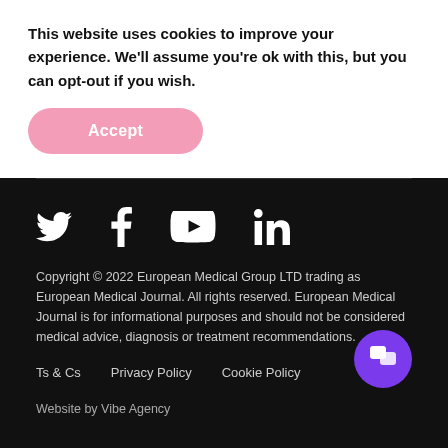This website uses cookies to improve your experience. We'll assume you're ok with this, but you can opt-out if you wish.
Accept
[Figure (other): Social media icons: Twitter, Facebook, YouTube, LinkedIn in white on black background]
Copyright © 2022 European Medical Group LTD trading as European Medical Journal. All rights reserved. European Medical Journal is for informational purposes and should not be considered medical advice, diagnosis or treatment recommendations.
Ts & Cs    Privacy Policy    Cookie Policy
Website by Vibe Agency